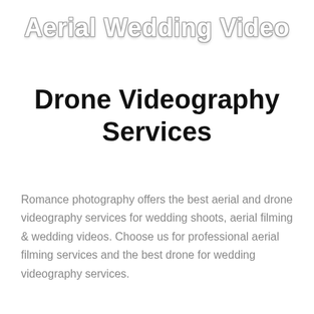Aerial Wedding Video
Drone Videography Services
Romance photography offers the best aerial and drone videography services for wedding shoots, aerial filming & wedding videos. Choose us for professional aerial filming services and the best drone for wedding videography services.